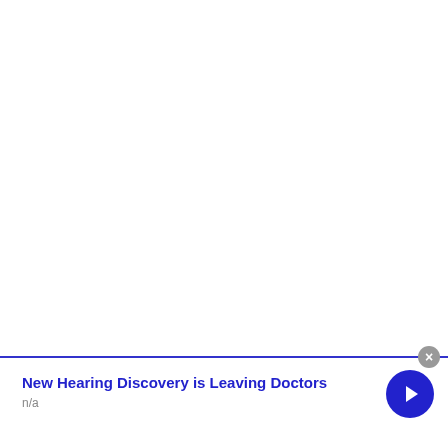New Hearing Discovery is Leaving Doctors
n/a